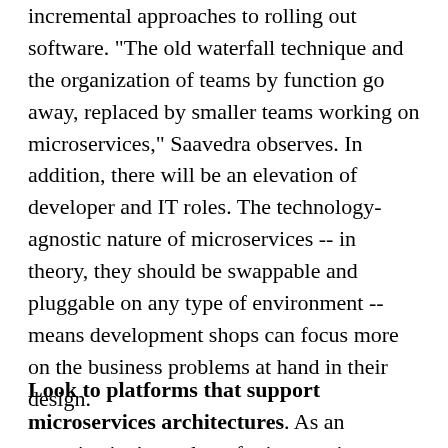organizations -- meaning more iterative and incremental approaches to rolling out software. "The old waterfall technique and the organization of teams by function go away, replaced by smaller teams working on microservices," Saavedra observes. In addition, there will be an elevation of developer and IT roles. The technology-agnostic nature of microservices -- in theory, they should be swappable and pluggable on any type of environment -- means development shops can focus more on the business problems at hand in their design.
Look to platforms that support microservices architectures. As an organization's catalog of microservices grows, so does potential complexity